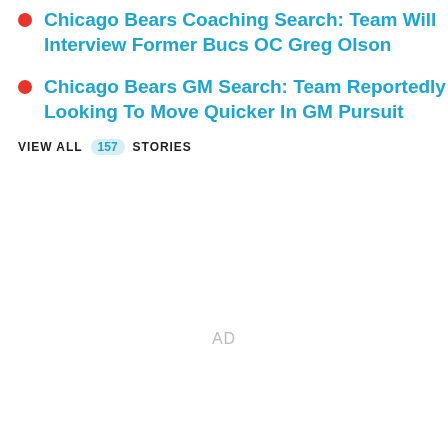Chicago Bears Coaching Search: Team Will Interview Former Bucs OC Greg Olson
Chicago Bears GM Search: Team Reportedly Looking To Move Quicker In GM Pursuit
VIEW ALL 157 STORIES
AD